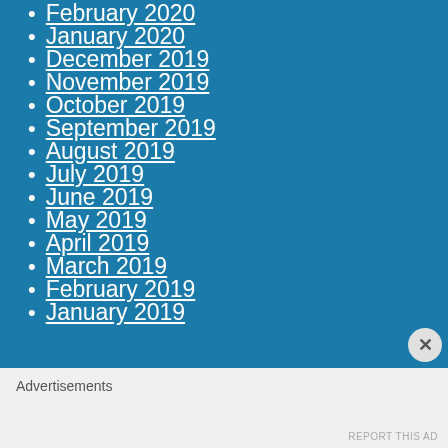February 2020
January 2020
December 2019
November 2019
October 2019
September 2019
August 2019
July 2019
June 2019
May 2019
April 2019
March 2019
February 2019
January 2019
Advertisements
REPORT THIS AD